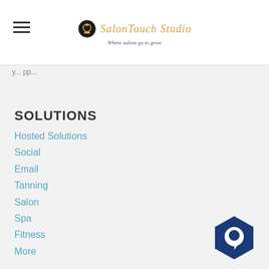SalonTouch Studio — Where salons go to grow
y... pp...
SOLUTIONS
Hosted Solutions
Social
Email
Tanning
Salon
Spa
Fitness
More
FEATURES
Appointment Booking
Custom Activity Screen
Staff Resources
[Figure (logo): Dark blue hexagon shape with a white chat/message bubble icon inside]